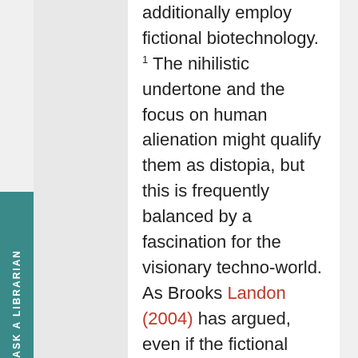additionally employ fictional biotechnology. 1 The nihilistic undertone and the focus on human alienation might qualify them as distopia, but this is frequently balanced by a fascination for the visionary techno-world. As Brooks Landon (2004) has argued, even if the fictional nanotechnologies threaten the current condition of humanity, the stories frequently provide prospects of transcendence "in the numinous form of Bear's noosphere and Di Filippo's URB or in the form of enhanced and expanded consciousness found in
[Figure (other): Teal/green vertical sidebar tab with rotated text reading ASK A LIBRARIAN]